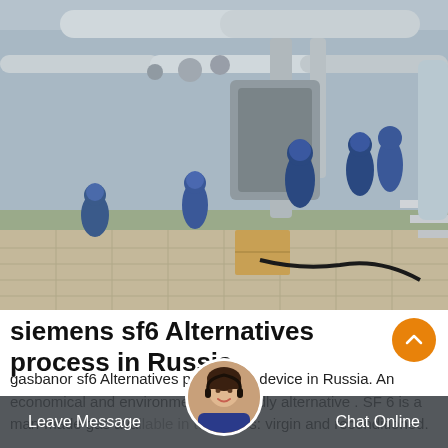[Figure (photo): Industrial workers in blue overalls and hard hats working on large pipeline equipment and gas switchgear at an outdoor facility in Russia]
siemens sf6 Alternatives process in Russia
gasbanor sf6 Alternatives purification device in Russia. An economical and environmentally friendly alternative . SF 6 is a man-made gas available in two types: virgin and reconditioned.